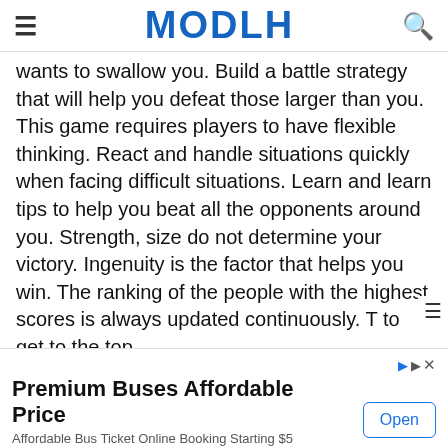≡  MODLH  🔍
wants to swallow you. Build a battle strategy that will help you defeat those larger than you. This game requires players to have flexible thinking. React and handle situations quickly when facing difficult situations. Learn and learn tips to help you beat all the opponents around you. Strength, size do not determine your victory. Ingenuity is the factor that helps you win. The ranking of the people with the highest scores is always updated continuously. T to get to the top.
[Figure (screenshot): Game screenshot showing a worm/snake game on a dark background with colorful worm characters and food items]
Premium Buses Affordable Price
Affordable Bus Ticket Online Booking Starting $5
OurBus
Open